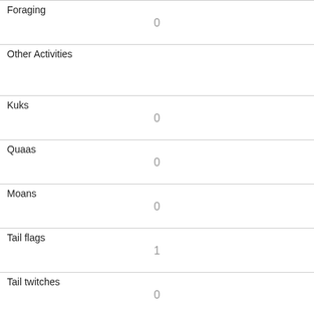| Foraging | 0 |
| Other Activities |  |
| Kuks | 0 |
| Quaas | 0 |
| Moans | 0 |
| Tail flags | 1 |
| Tail twitches | 0 |
| Approaches | 0 |
| Indifferent | 0 |
| Runs from | 0 |
| Other Interactions |  |